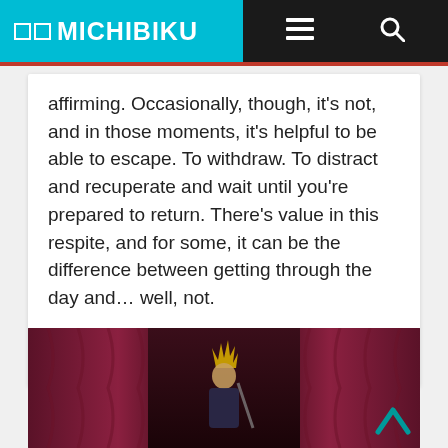□□ MICHIBIKU
affirming. Occasionally, though, it's not, and in those moments, it's helpful to be able to escape. To withdraw. To distract and recuperate and wait until you're prepared to return. There's value in this respite, and for some, it can be the difference between getting through the day and… well, not.
Read more
[Figure (illustration): A video game scene showing a character with blonde spiky hair standing in front of dramatic red curtains on a stage, in a dark theatrical setting.]